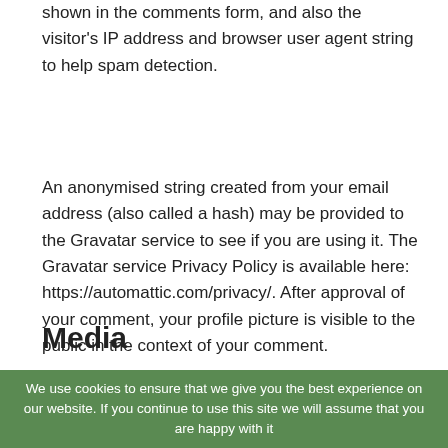shown in the comments form, and also the visitor's IP address and browser user agent string to help spam detection.
An anonymised string created from your email address (also called a hash) may be provided to the Gravatar service to see if you are using it. The Gravatar service Privacy Policy is available here: https://automattic.com/privacy/. After approval of your comment, your profile picture is visible to the public in the context of your comment.
Media
If you upload images to the website, you should avoid uploading images with embedded location data (EXIF GPS) included. Visitors to the website can download and extract any location data from images on the website.
We use cookies to ensure that we give you the best experience on our website. If you continue to use this site we will assume that you are happy with it